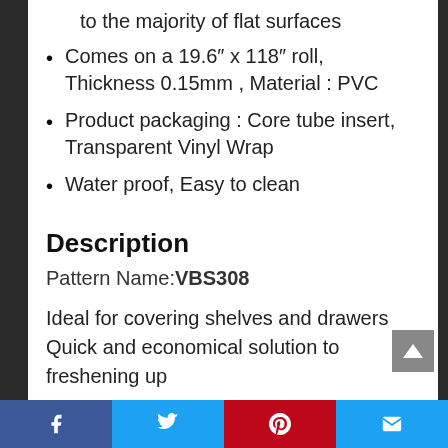to the majority of flat surfaces
Comes on a 19.6″ x 118″ roll, Thickness 0.15mm , Material : PVC
Product packaging : Core tube insert, Transparent Vinyl Wrap
Water proof, Easy to clean
Description
Pattern Name:VBS308
Ideal for covering shelves and drawers Quick and economical solution to freshening up